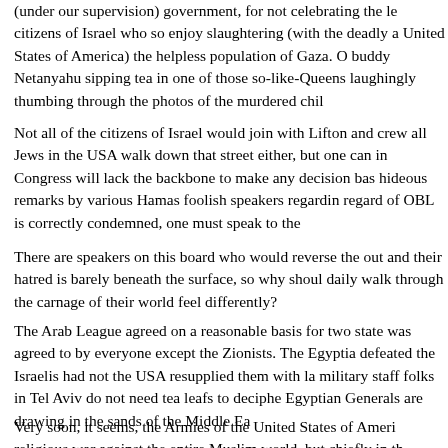(under our supervision) government, for not celebrating the le citizens of Israel who so enjoy slaughtering (with the deadly a United States of America) the helpless population of Gaza. O buddy Netanyahu sipping tea in one of those so-like-Queens laughingly thumbing through the photos of the murdered chil
Not all of the citizens of Israel would join with Lifton and crew all Jews in the USA walk down that street either, but one can in Congress will lack the backbone to make any decision bas hideous remarks by various Hamas foolish speakers regardin regard of OBL is correctly condemned, one must speak to the
There are speakers on this board who would reverse the out and their hatred is barely beneath the surface, so why shoul daily walk through the carnage of their world feel differently?
The Arab League agreed on a reasonable basis for two state was agreed to by everyone except the Zionists. The Egyptia defeated the Israelis had not the USA resupplied them with la military staff folks in Tel Aviv do not need tea leafs to deciphe Egyptian Generals are drawing in the sands of the Middle Ea
Very soon, it seems, the Armies of the United States of Ameri religious war against the entire Muslim world, but chiefly in the